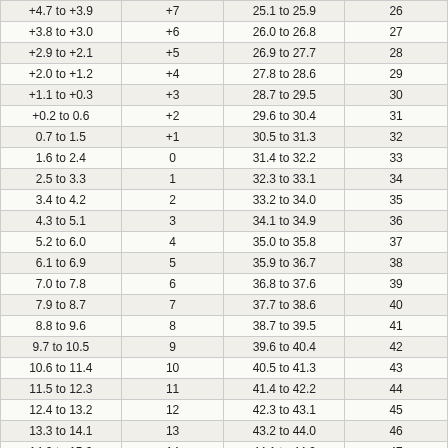| +4.7 to +3.9 | +7 | 25.1 to 25.9 | 26 |
| +3.8 to +3.0 | +6 | 26.0 to 26.8 | 27 |
| +2.9 to +2.1 | +5 | 26.9 to 27.7 | 28 |
| +2.0 to +1.2 | +4 | 27.8 to 28.6 | 29 |
| +1.1 to +0.3 | +3 | 28.7 to 29.5 | 30 |
| +0.2 to 0.6 | +2 | 29.6 to 30.4 | 31 |
| 0.7 to 1.5 | +1 | 30.5 to 31.3 | 32 |
| 1.6 to 2.4 | 0 | 31.4 to 32.2 | 33 |
| 2.5 to 3.3 | 1 | 32.3 to 33.1 | 34 |
| 3.4 to 4.2 | 2 | 33.2 to 34.0 | 35 |
| 4.3 to 5.1 | 3 | 34.1 to 34.9 | 36 |
| 5.2 to 6.0 | 4 | 35.0 to 35.8 | 37 |
| 6.1 to 6.9 | 5 | 35.9 to 36.7 | 38 |
| 7.0 to 7.8 | 6 | 36.8 to 37.6 | 39 |
| 7.9 to 8.7 | 7 | 37.7 to 38.6 | 40 |
| 8.8 to 9.6 | 8 | 38.7 to 39.5 | 41 |
| 9.7 to 10.5 | 9 | 39.6 to 40.4 | 42 |
| 10.6 to 11.4 | 10 | 40.5 to 41.3 | 43 |
| 11.5 to 12.3 | 11 | 41.4 to 42.2 | 44 |
| 12.4 to 13.2 | 12 | 42.3 to 43.1 | 45 |
| 13.3 to 14.1 | 13 | 43.2 to 44.0 | 46 |
| 14.2 to 15.0 | 14 | 44.1 to 44.9 | 47 |
| 15.1 to 16.0 | 15 | 45.0 to 45.8 | 48 |
| 16.1 to 16.9 | 16 | 45.9 to 46.7 | 49 |